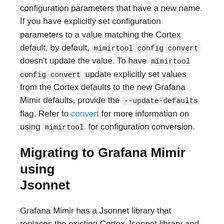configuration parameters that have a new name. If you have explicitly set configuration parameters to a value matching the Cortex default, by default, mimirtool config convert doesn't update the value. To have mimirtool config convert update explicitly set values from the Cortex defaults to the new Grafana Mimir defaults, provide the --update-defaults flag. Refer to convert for more information on using mimirtool for configuration conversion.
Migrating to Grafana Mimir using Jsonnet
Grafana Mimir has a Jsonnet library that replaces the existing Cortex Jsonnet library and updated monitoring mixin.
Migrate to Grafana Mimir video